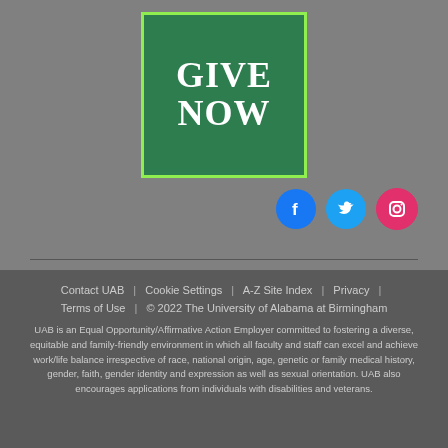[Figure (logo): Green 'GIVE NOW' button/banner with white serif bold text on dark green background, outlined with light green border]
[Figure (infographic): Three social media icons: Facebook (blue circle with f), Twitter (blue circle with bird), Instagram (pink circle with camera)]
Contact UAB | Cookie Settings | A-Z Site Index | Privacy | Terms of Use | © 2022 The University of Alabama at Birmingham
UAB is an Equal Opportunity/Affirmative Action Employer committed to fostering a diverse, equitable and family-friendly environment in which all faculty and staff can excel and achieve work/life balance irrespective of race, national origin, age, genetic or family medical history, gender, faith, gender identity and expression as well as sexual orientation. UAB also encourages applications from individuals with disabilities and veterans.